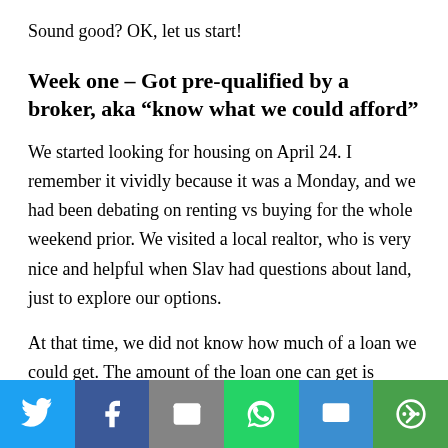Sound good? OK, let us start!
Week one – Got pre-qualified by a broker, aka “know what we could afford”
We started looking for housing on April 24. I remember it vividly because it was a Monday, and we had been debating on renting vs buying for the whole weekend prior. We visited a local realtor, who is very nice and helpful when Slav had questions about land, just to explore our options.
At that time, we did not know how much of a loan we could get. The amount of the loan one can get is
[Figure (infographic): Social sharing bar with icons for Twitter, Facebook, Email, WhatsApp, SMS, and More]